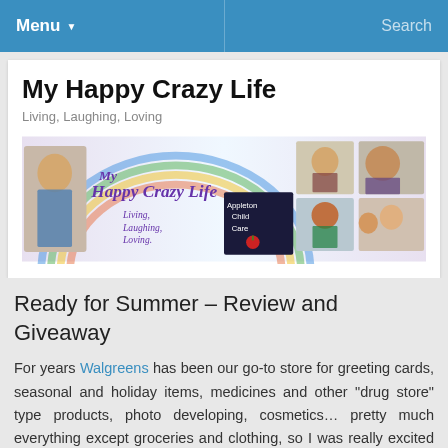Menu ▾   Search
My Happy Crazy Life
Living, Laughing, Loving
[Figure (photo): My Happy Crazy Life blog banner with collage of family photos, text 'My Happy Crazy Life Living, Laughing, Loving' and 'Appleton Child Care']
Ready for Summer – Review and Giveaway
For years Walgreens has been our go-to store for greeting cards, seasonal and holiday items, medicines and other "drug store" type products, photo developing, cosmetics… pretty much everything except groceries and clothing, so I was really excited to be offered an opportunity to purchase some Walgreens Brand products for review.